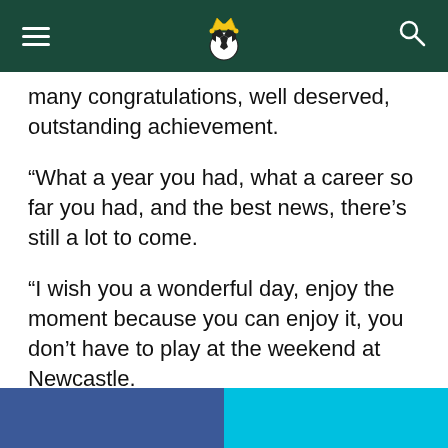Navigation header with hamburger menu, football crown logo, and search icon
many congratulations, well deserved, outstanding achievement.
“What a year you had, what a career so far you had, and the best news, there’s still a lot to come.
“I wish you a wonderful day, enjoy the moment because you can enjoy it, you don’t have to play at the weekend at Newcastle.
“Enjoy the moment and, again, best player of the Premier League, wow!”
[Figure (other): Social share buttons: Facebook (blue) on the left, Twitter (cyan) on the right, partially visible at the bottom of the page]